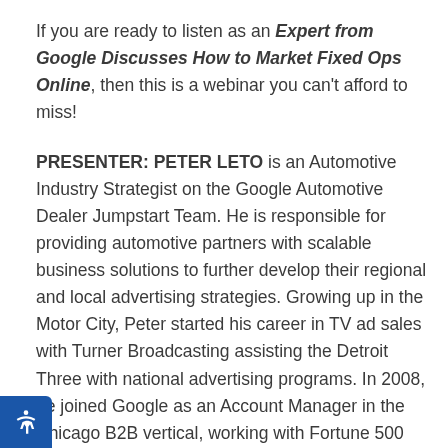If you are ready to listen as an Expert from Google Discusses How to Market Fixed Ops Online, then this is a webinar you can't afford to miss!
PRESENTER: PETER LETO is an Automotive Industry Strategist on the Google Automotive Dealer Jumpstart Team. He is responsible for providing automotive partners with scalable business solutions to further develop their regional and local advertising strategies. Growing up in the Motor City, Peter started his career in TV ad sales with Turner Broadcasting assisting the Detroit Three with national advertising programs. In 2008, he joined Google as an Account Manager in the Chicago B2B vertical, working with Fortune 500 companies primarily across the Manufacturing &